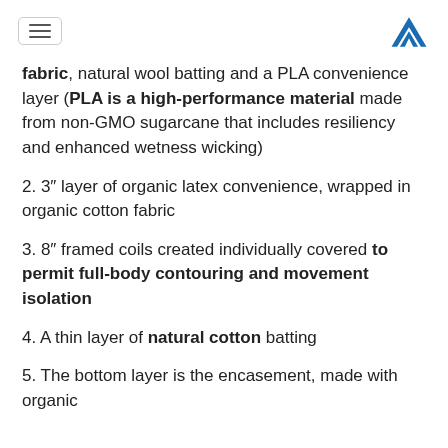[hamburger menu icon] [M logo]
fabric, natural wool batting and a PLA convenience layer (PLA is a high-performance material made from non-GMO sugarcane that includes resiliency and enhanced wetness wicking)
2. 3″ layer of organic latex convenience, wrapped in organic cotton fabric
3. 8″ framed coils created individually covered to permit full-body contouring and movement isolation
4. A thin layer of natural cotton batting
5. The bottom layer is the encasement, made with organic